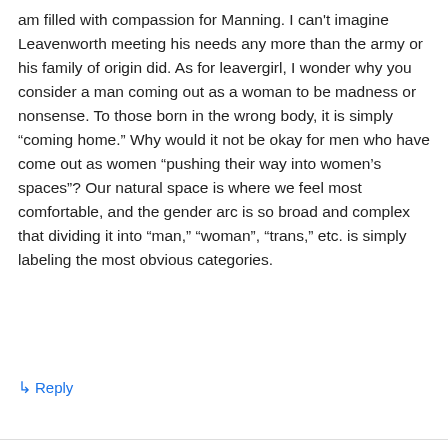am filled with compassion for Manning. I can't imagine Leavenworth meeting his needs any more than the army or his family of origin did. As for leavergirl, I wonder why you consider a man coming out as a woman to be madness or nonsense. To those born in the wrong body, it is simply “coming home.” Why would it not be okay for men who have come out as women “pushing their way into women’s spaces”? Our natural space is where we feel most comfortable, and the gender arc is so broad and complex that dividing it into “man,” “woman”, “trans,” etc. is simply labeling the most obvious categories.
↳ Reply